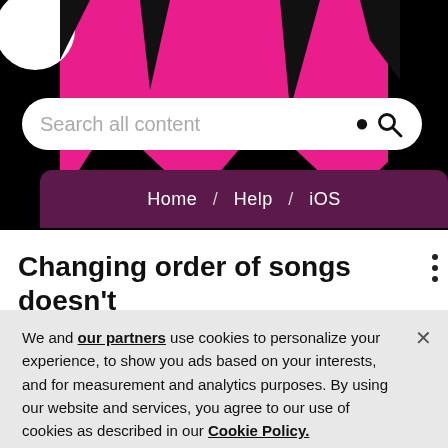[Figure (screenshot): Website header with black background, magenta/pink graphic shapes, a white circular logo partially visible at top-left, and a white rounded search bar reading 'Search all content' with a search icon.]
Search all content
Home / Help / iOS
Changing order of songs doesn't work
We and our partners use cookies to personalize your experience, to show you ads based on your interests, and for measurement and analytics purposes. By using our website and services, you agree to our use of cookies as described in our Cookie Policy.